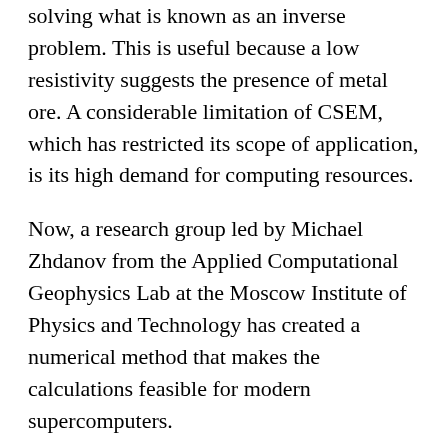solving what is known as an inverse problem. This is useful because a low resistivity suggests the presence of metal ore. A considerable limitation of CSEM, which has restricted its scope of application, is its high demand for computing resources.
Now, a research group led by Michael Zhdanov from the Applied Computational Geophysics Lab at the Moscow Institute of Physics and Technology has created a numerical method that makes the calculations feasible for modern supercomputers.
"Solving the inverse problem involves calculating -- thousands of times -- the electromagnetic field from a given distribution of electric current," said paper co-author Mikhail Malovichko of Skoltech and the MIPT Applied Computational Geophysics Lab. "We have proposed a new numerical method that speeds up the forward-problem calculation on alternating current severalfold, thus making